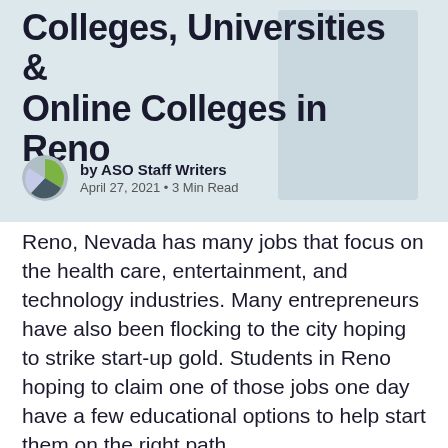Colleges, Universities & Online Colleges in Reno
by ASO Staff Writers
April 27, 2021 • 3 Min Read
Reno, Nevada has many jobs that focus on the health care, entertainment, and technology industries. Many entrepreneurs have also been flocking to the city hoping to strike start-up gold. Students in Reno hoping to claim one of those jobs one day have a few educational options to help start them on the right path.